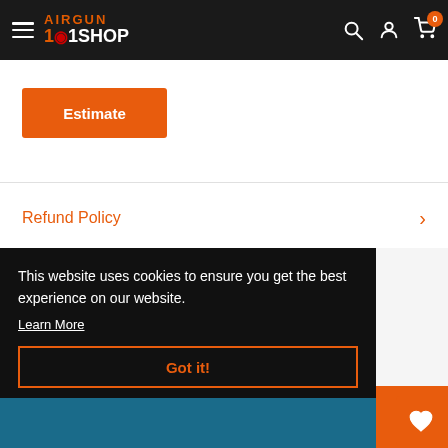[Figure (logo): Airgun 101 Shop logo in orange on dark navbar, with hamburger menu, search icon, user icon, and cart icon with 0 badge]
Estimate
Refund Policy
This website uses cookies to ensure you get the best experience on our website.
Learn More
Got it!